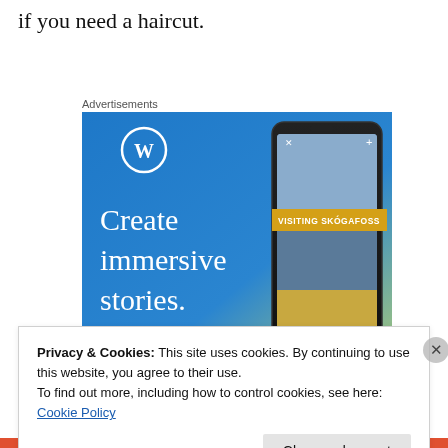if you need a haircut.
Advertisements
[Figure (illustration): WordPress advertisement banner with blue gradient background showing WordPress logo (W in circle), text 'Create immersive stories.' on the left, and a smartphone displaying a waterfall photo with 'VISITING SKÓGAFOSS' overlay on the right.]
Privacy & Cookies: This site uses cookies. By continuing to use this website, you agree to their use.
To find out more, including how to control cookies, see here: Cookie Policy
Close and accept